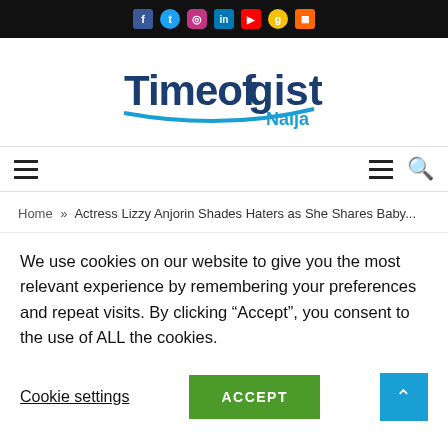Timeofgist Naija - social media icons header bar
[Figure (logo): Timeofgist Naija logo with blue bold text and blue swoosh underline]
Home » Actress Lizzy Anjorin Shades Haters as She Shares Baby...
We use cookies on our website to give you the most relevant experience by remembering your preferences and repeat visits. By clicking “Accept”, you consent to the use of ALL the cookies.
Cookie settings  ACCEPT